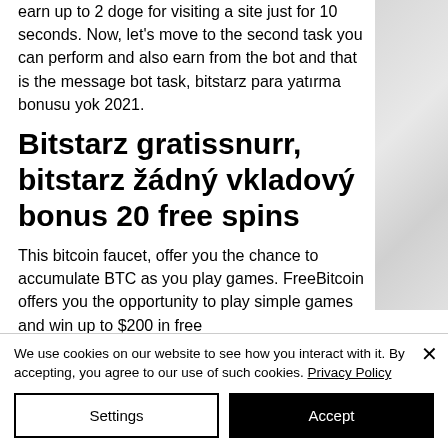earn up to 2 doge for visiting a site just for 10 seconds. Now, let's move to the second task you can perform and also earn from the bot and that is the message bot task, bitstarz para yatırma bonusu yok 2021.
Bitstarz gratissnurr, bitstarz žádný vkladový bonus 20 free spins
This bitcoin faucet, offer you the chance to accumulate BTC as you play games. FreeBitcoin offers you the opportunity to play simple games and win up to $200 in free
We use cookies on our website to see how you interact with it. By accepting, you agree to our use of such cookies. Privacy Policy
Settings
Accept